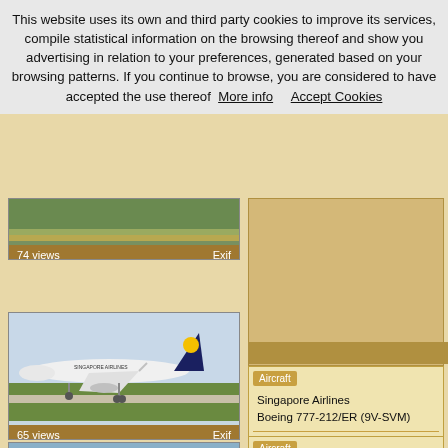This website uses its own and third party cookies to improve its services, compile statistical information on the browsing thereof and show you advertising in relation to your preferences, generated based on your browsing patterns. If you continue to browse, you are considered to have accepted the use thereof  More info      Accept Cookies
[Figure (photo): Partial aerial/runway photo at top, with golden footer bar showing 74 views and Exif link]
[Figure (photo): Singapore Airlines Boeing 777 on taxiway with green grass, blue sky background, showing 65 views and Exif link]
Aircraft
Singapore Airlines
Boeing 777-212/ER (9V-SVM)
Photographer
Toni Marimon
[Figure (photo): Partial photo at the bottom of the page (aircraft nose visible)]
Aircraft